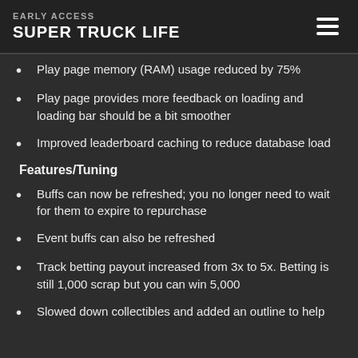EARLY ACCESS
SUPER TRUCK LIFE
Play page memory (RAM) usage reduced by 75%
Play page provides more feedback on loading and loading bar should be a bit smoother
Improved leaderboard caching to reduce database load
Features/Tuning
Buffs can now be refreshed; you no longer need to wait for them to expire to repurchase
Event buffs can also be refreshed
Track betting payout increased from 3x to 5x.  Betting is still 1,000 scrap but you can win 5,000
Slowed down collectibles and added an outline to help